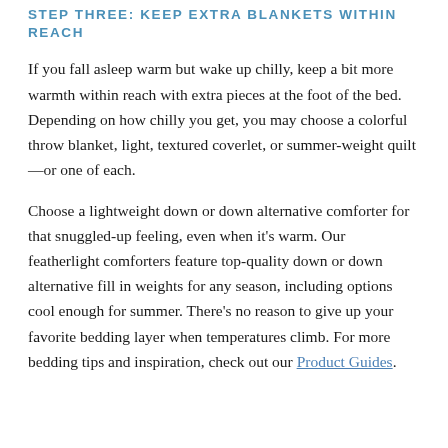STEP THREE: KEEP EXTRA BLANKETS WITHIN REACH
If you fall asleep warm but wake up chilly, keep a bit more warmth within reach with extra pieces at the foot of the bed. Depending on how chilly you get, you may choose a colorful throw blanket, light, textured coverlet, or summer-weight quilt—or one of each.
Choose a lightweight down or down alternative comforter for that snuggled-up feeling, even when it's warm. Our featherlight comforters feature top-quality down or down alternative fill in weights for any season, including options cool enough for summer. There's no reason to give up your favorite bedding layer when temperatures climb. For more bedding tips and inspiration, check out our Product Guides.